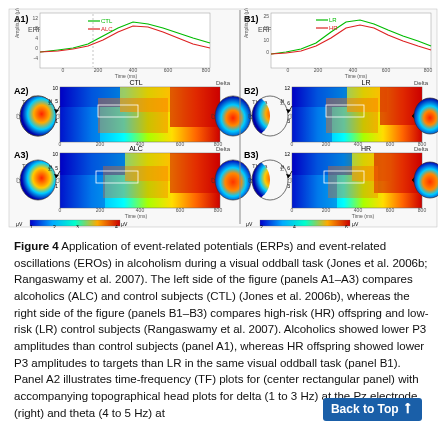[Figure (continuous-plot): ERP and ERO time-frequency panels for alcoholism study. Left side (A1-A3): ERP waveforms and TF plots comparing ALC (alcoholics) and CTL (control subjects). A1 shows ERP amplitude vs time for CTL (green) and ALC (red). A2 shows TF plot for CTL with theta and delta topographic head maps. A3 shows TF plot for ALC with theta and delta topographic head maps. Right side (B1-B3): B1 ERP waveforms comparing LR (low-risk, green) and HR (high-risk, red). B2 TF plot for LR, B3 TF plot for HR, each with topographic head maps. Color scales shown at bottom.]
Figure 4 Application of event-related potentials (ERPs) and event-related oscillations (EROs) in alcoholism during a visual oddball task (Jones et al. 2006b; Rangaswamy et al. 2007). The left side of the figure (panels A1–A3) compares alcoholics (ALC) and control subjects (CTL) (Jones et al. 2006b), whereas the right side of the figure (panels B1–B3) compares high-risk (HR) offspring and low-risk (LR) control subjects (Rangaswamy et al. 2007). Alcoholics showed lower P3 amplitudes than control subjects (panel A1), whereas HR offspring showed lower P3 amplitudes to targets than LR in the same visual oddball task (panel B1). Panel A2 illustrates time-frequency (TF) plots for (center rectangular panel) with accompanying topographical head plots for delta (1 to 3 Hz) at the Pz electrode (right) and theta (4 to 5 Hz) at